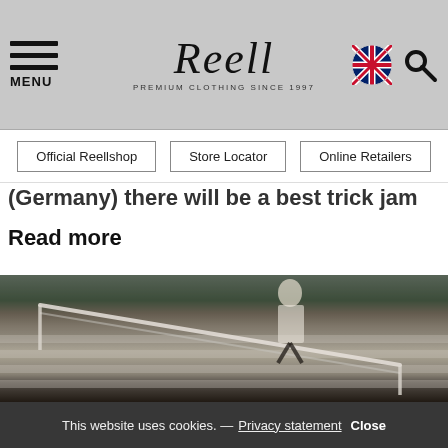MENU | Reell Premium Clothing Since 1997 | [UK flag] [Search]
Official Reellshop
Store Locator
Online Retailers
(Germany) there will be a best trick jam
Read more
[Figure (photo): Skateboarder performing a trick on a staircase handrail, urban outdoor setting with trees and a building in the background]
This website uses cookies. — Privacy statement Close